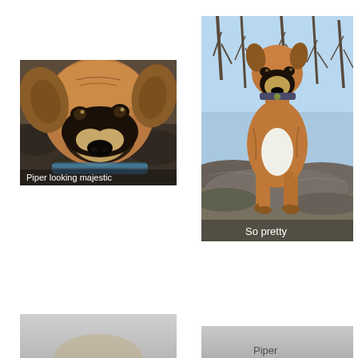[Figure (photo): Close-up photo of a boxer dog named Piper looking majestic, with rocks in background. Text overlay reads 'Piper looking majestic'.]
[Figure (photo): Full body photo of a boxer dog standing on rocks in a wooded area. Text overlay reads 'So pretty'.]
[Figure (photo): Partial/cropped photo at bottom-left, appears to be another dog photo, partially visible.]
[Figure (photo): Partial/cropped photo at bottom-right, appears to be another dog photo with text 'Piper' partially visible.]